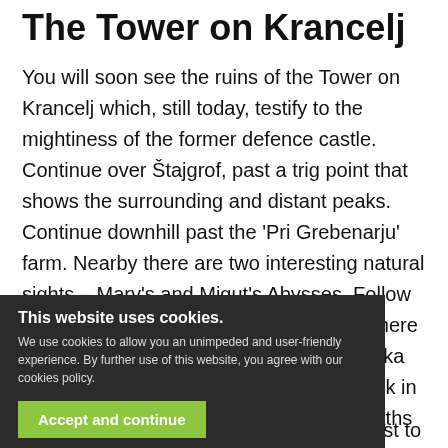The Tower on Krancelj
You will soon see the ruins of the Tower on Krancelj which, still today, testify to the mightiness of the former defence castle. Continue over Štajgrof, past a trig point that shows the surrounding and distant peaks. Continue downhill past the 'Pri Grebenarju' farm. Nearby there are two interesting natural sights – Mary's and Migut's Abysses. Follow the signpost ahead to the forest edge, where there is a monument to the founder of Loka Tourism, Slavko Flis. It was Flis, who back in 1895, began work on creating walking paths in this area.
[Figure (other): Cookie consent overlay popup with dark background, title 'This website uses cookies.', body text, green 'Accept and continue' button, and 'Do you want to know more?' link. Overlapping main page content.]
Wild Loka
From here the path runs through the forest to the Kobila